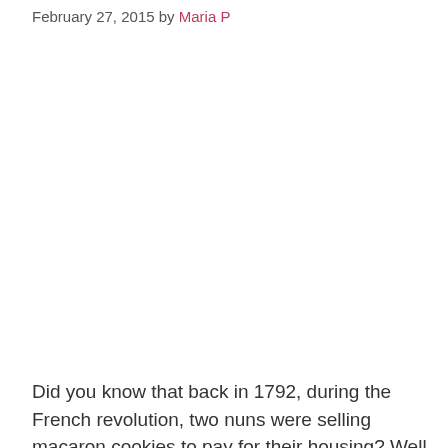February 27, 2015 by Maria P
[Figure (photo): Image placeholder area (photo not visible in excerpt)]
Did you know that back in 1792, during the French revolution, two nuns were selling macaron cookies to pay for their housing? Well